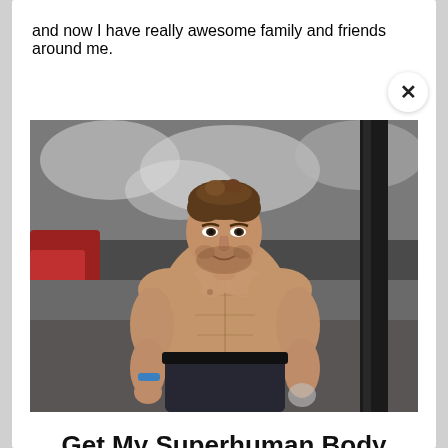and now I have really awesome family and friends around me.
[Figure (photo): Shirtless athletic man with beard standing in a gym or athletic facility, wearing dark shorts and a blue wristband, with a black and white background showing snow or water splash and a vertical bar visible on the right.]
Get My Superhuman Body Podcast Series Right